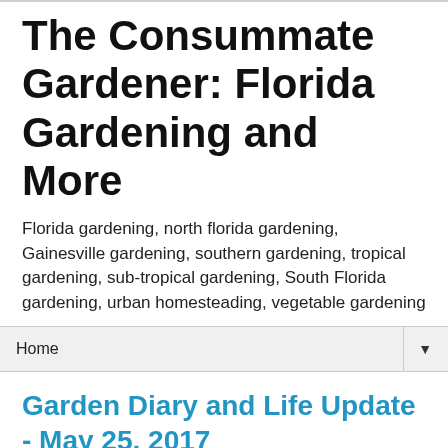The Consummate Gardener: Florida Gardening and More
Florida gardening, north florida gardening, Gainesville gardening, southern gardening, tropical gardening, sub-tropical gardening, South Florida gardening, urban homesteading, vegetable gardening
Home ▼
Garden Diary and Life Update - May 25, 2017
First, I'm sorry I haven't posted in so long. I've had a lot going on with the garden and work and life in general. Plus